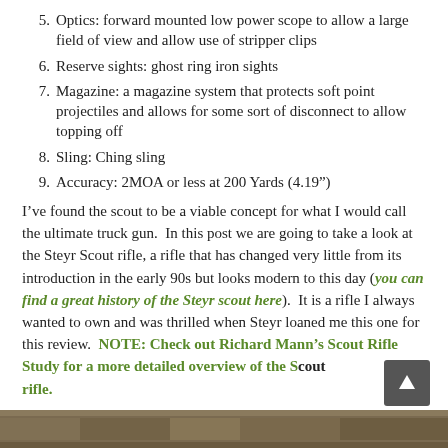5. Optics: forward mounted low power scope to allow a large field of view and allow use of stripper clips
6. Reserve sights: ghost ring iron sights
7. Magazine: a magazine system that protects soft point projectiles and allows for some sort of disconnect to allow topping off
8. Sling: Ching sling
9. Accuracy: 2MOA or less at 200 Yards (4.19")
I've found the scout to be a viable concept for what I would call the ultimate truck gun. In this post we are going to take a look at the Steyr Scout rifle, a rifle that has changed very little from its introduction in the early 90s but looks modern to this day (you can find a great history of the Steyr scout here). It is a rifle I always wanted to own and was thrilled when Steyr loaned me this one for this review. NOTE: Check out Richard Mann's Scout Rifle Study for a more detailed overview of the Scout rifle.
[Figure (photo): Partial photo strip at the bottom of the page showing outdoor/nature scene]